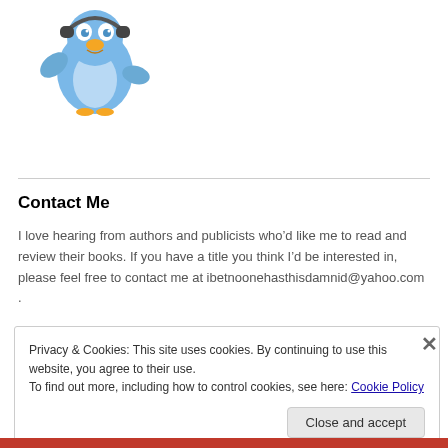[Figure (illustration): Blue cartoon bird/penguin wearing headphones, waving one wing, with yellow beak]
Contact Me
I love hearing from authors and publicists who’d like me to read and review their books. If you have a title you think I’d be interested in, please feel free to contact me at ibetnoonehasthisdamnid@yahoo.com .
Privacy & Cookies: This site uses cookies. By continuing to use this website, you agree to their use.
To find out more, including how to control cookies, see here: Cookie Policy
Close and accept